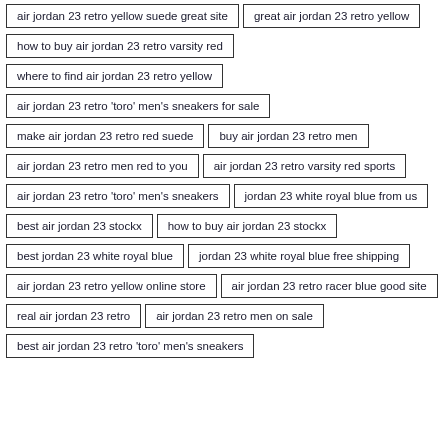air jordan 23 retro yellow suede great site
great air jordan 23 retro yellow
how to buy air jordan 23 retro varsity red
where to find air jordan 23 retro yellow
air jordan 23 retro 'toro' men's sneakers for sale
make air jordan 23 retro red suede
buy air jordan 23 retro men
air jordan 23 retro men red to you
air jordan 23 retro varsity red sports
air jordan 23 retro 'toro' men's sneakers
jordan 23 white royal blue from us
best air jordan 23 stockx
how to buy air jordan 23 stockx
best jordan 23 white royal blue
jordan 23 white royal blue free shipping
air jordan 23 retro yellow online store
air jordan 23 retro racer blue good site
real air jordan 23 retro
air jordan 23 retro men on sale
best air jordan 23 retro 'toro' men's sneakers